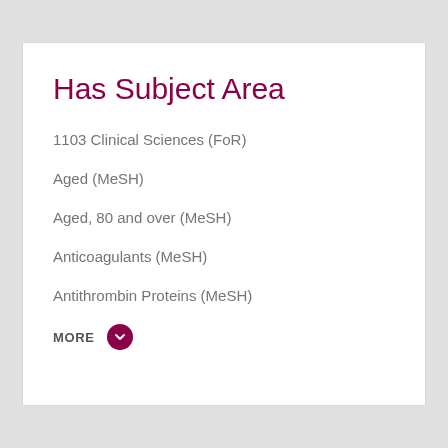Has Subject Area
1103 Clinical Sciences (FoR)
Aged (MeSH)
Aged, 80 and over (MeSH)
Anticoagulants (MeSH)
Antithrombin Proteins (MeSH)
MORE